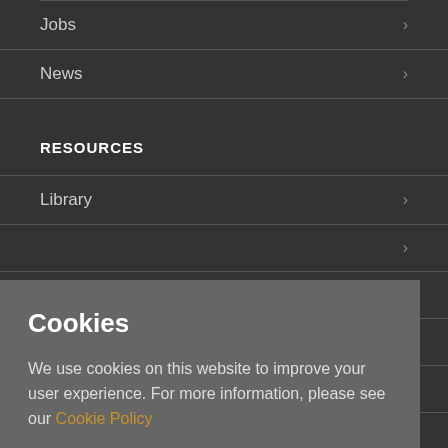Jobs
News
RESOURCES
Library
Venue Hire
Cookies
We use cookies on this website to improve your user experience. For more information, please see our Cookie Policy
OKAY